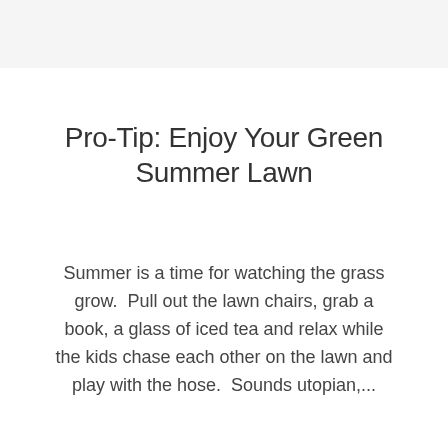Pro-Tip: Enjoy Your Green Summer Lawn
Summer is a time for watching the grass grow.  Pull out the lawn chairs, grab a book, a glass of iced tea and relax while the kids chase each other on the lawn and play with the hose.  Sounds utopian,...